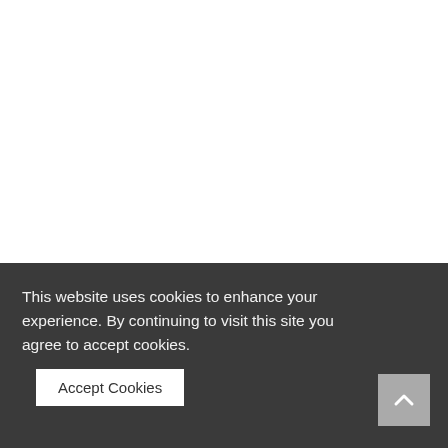Home ▶ ZODIAC SIGNS ▶ The Change You Should Make To Live A More Beautiful Life, Based On Your Zodiac In May And June 2022
This website uses cookies to enhance your experience. By continuing to visit this site you agree to accept cookies.